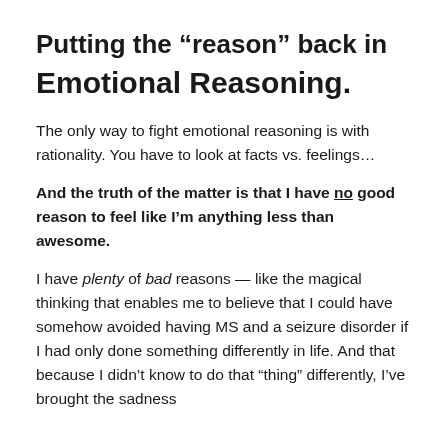Putting the “reason” back in
Emotional Reasoning.
The only way to fight emotional reasoning is with rationality. You have to look at facts vs. feelings…
And the truth of the matter is that I have no good reason to feel like I’m anything less than awesome.
I have plenty of bad reasons — like the magical thinking that enables me to believe that I could have somehow avoided having MS and a seizure disorder if I had only done something differently in life. And that because I didn’t know to do that “thing” differently, I’ve brought the sadness